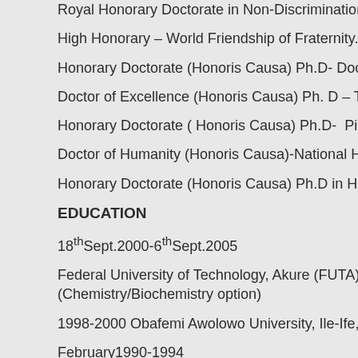Royal Honorary Doctorate in Non-Discrimination and Anti-Racism (
High Honorary – World Friendship of Fraternity.
Honorary Doctorate (Honoris Causa) Ph.D- Doctor of Philosophy in
Doctor of Excellence (Honoris Causa) Ph. D – The World Peoples' P
Honorary Doctorate ( Honoris Causa) Ph.D-  Pioneer of Peace Inter
Doctor of Humanity (Honoris Causa)-National Humanity Global Pea
Honorary Doctorate (Honoris Causa) Ph.D in Human Rights and Pe
EDUCATION
18th Sept.2000-6th Sept.2005
Federal University of Technology, Akure (FUTA) Science Laboratory
(Chemistry/Biochemistry option)
1998-2000 Obafemi Awolowo University, Ile-Ife, Osun State Ordinar
February1990-1994
West African Senior School Certificate (WASSCE)
September 1986-1989